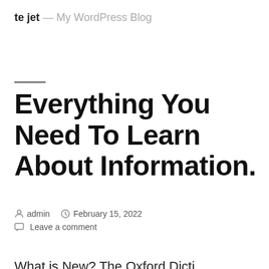te jet — My WordPress Blog
Everything You Need To Learn About Information.
admin  February 15, 2022  Leave a comment
What is New? The Oxford Dicti...